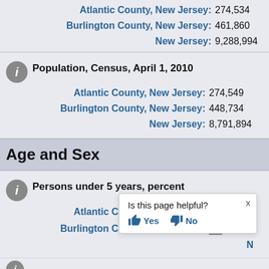Atlantic County, New Jersey: 274,534
Burlington County, New Jersey: 461,860
New Jersey: 9,288,994
Population, Census, April 1, 2010
Atlantic County, New Jersey: 274,549
Burlington County, New Jersey: 448,734
New Jersey: 8,791,894
Age and Sex
Persons under 5 years, percent
Atlantic County, New Jersey: 5.2%
Burlington County, New Jersey: 5.0%
Is this page helpful? Yes No